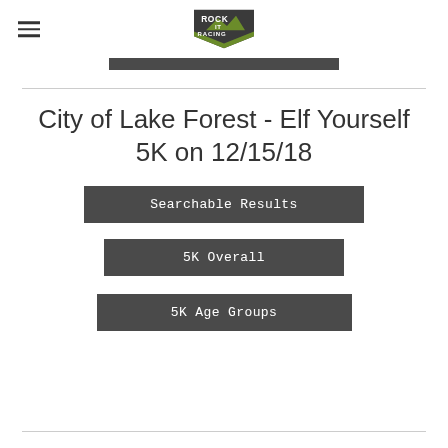[Figure (logo): Rock It Racing logo — stylized text with mountain/arrow graphic in green and dark colors]
City of Lake Forest - Elf Yourself 5K on 12/15/18
Searchable Results
5K Overall
5K Age Groups